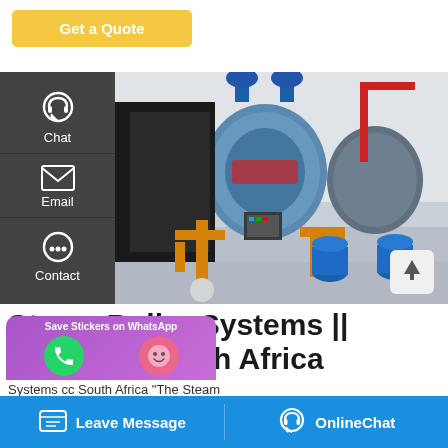[Figure (screenshot): Yellow 'Get a Quote' button on white background]
[Figure (photo): Industrial steam boiler room with multiple large cylindrical boilers with orange/yellow pipe fittings, blue drums, and red piping. A side overlay shows Chat, Email, and Contact icons on dark background.]
Steam Boiler Systems || Gauteng, South Africa
Systems cc South Africa "The Steam
[Figure (screenshot): Bottom blue bar with 'Leave Message' and 'OnlineChat' buttons]
[Figure (screenshot): Purple WhatsApp popup with 'Save Stickers on WhatsApp' text and phone/emoji icons]